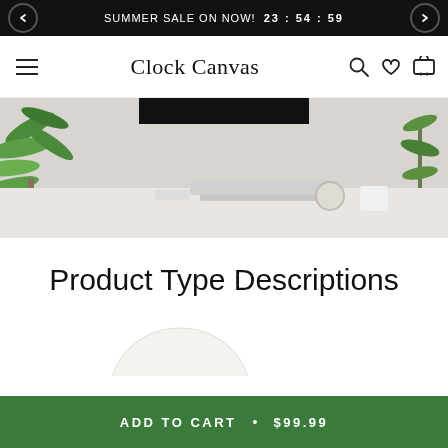SUMMER SALE ON NOW!  23 : 54 : 59
Clock Canvas
[Figure (photo): Hero banner showing a modern home office desk with white laptop, decorative clock, plant on the left, and green plant on the right, against a light neutral background. A black overlay rectangle appears at the top center.]
Product Type Descriptions
[Figure (photo): Partial view of a white round clock product at the bottom of the section.]
ADD TO CART  •  $99.99